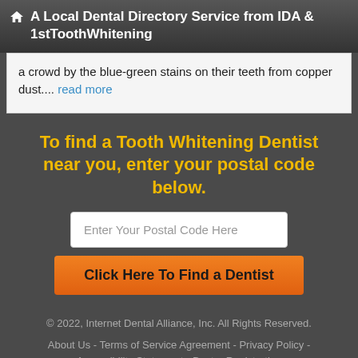A Local Dental Directory Service from IDA & 1stToothWhitening
a crowd by the blue-green stains on their teeth from copper dust.... read more
To find a Tooth Whitening Dentist near you, enter your postal code below.
Enter Your Postal Code Here
Click Here To Find a Dentist
© 2022, Internet Dental Alliance, Inc. All Rights Reserved. About Us - Terms of Service Agreement - Privacy Policy - Accessibility Statement - Doctor Registration